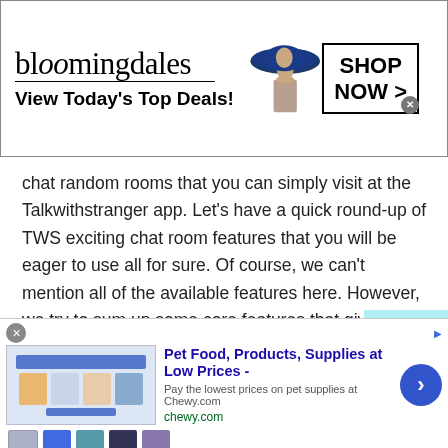[Figure (screenshot): Bloomingdale's advertisement banner: logo text 'bloomingdales', tagline 'View Today's Top Deals!', image of woman in large blue hat, and 'SHOP NOW >' button box]
chat random rooms that you can simply visit at the Talkwithstranger app. Let's have a quick round-up of TWS exciting chat room features that you will be eager to use all for sure. Of course, we can't mention all of the available features here. However, we try to sum up some core features that give you an idea of how TWS is going to be so popular worldwide.
Text chat
[Figure (screenshot): Chewy.com advertisement: 'Pet Food, Products, Supplies at Low Prices -' headline, 'Pay the lowest prices on pet supplies at Chewy.com', chewy.com URL, product images, and blue arrow button]